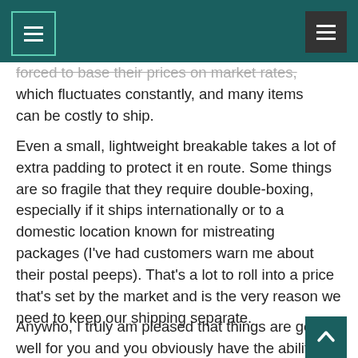[Navigation header bar with menu buttons]
forced to base their prices on market rates, which fluctuates constantly, and many items can be costly to ship.
Even a small, lightweight breakable takes a lot of extra padding to protect it en route. Some things are so fragile that they require double-boxing, especially if it ships internationally or to a domestic location known for mistreating packages (I've had customers warn me about their postal peeps). That's a lot to roll into a price that's set by the market and is the very reason we need to keep our shipping separate.
Anywho, I truly am pleased that things are going well for you and you obviously have the ability to adapt when necessary. I just